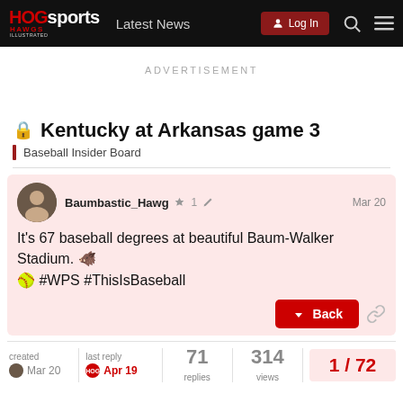HOGsports HAWGS ILLUSTRATED | Latest News | Log In
ADVERTISEMENT
Kentucky at Arkansas game 3
Baseball Insider Board
Baumbastic_Hawg 🛡 1 ✏ Mar 20
It's 67 baseball degrees at beautiful Baum-Walker Stadium. 🐗 🥎 #WPS #ThisIsBaseball
created Mar 20 | last reply Apr 19 | 71 replies | 314 views | 1 / 72